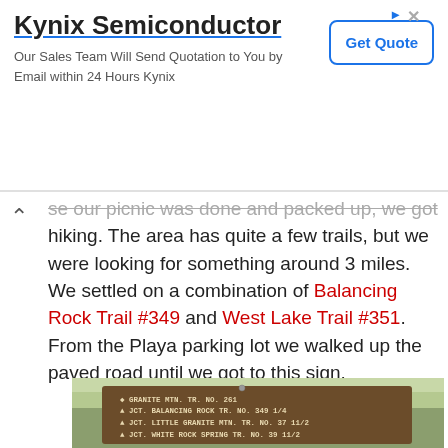[Figure (screenshot): Advertisement banner for Kynix Semiconductor with title, description text, Get Quote button, and navigation icons]
se our picnic was done and packed up, we got hiking. The area has quite a few trails, but we were looking for something around 3 miles. We settled on a combination of Balancing Rock Trail #349 and West Lake Trail #351. From the Playa parking lot we walked up the paved road until we got to this sign.
[Figure (photo): Wooden trail sign post showing: GRANITE MTN. TR. NO. 261, JCT. BALANCING ROCK TR. NO. 349 1/4, JCT. LITTLE GRANITE MTN. TR. NO. 37 11/2, JCT. WHITE ROCK SPRING TR. NO. 39 11/2]